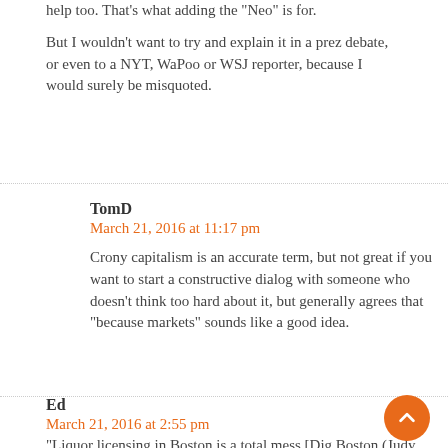help too. That’s what adding the “Neo” is for.
But I wouldn’t want to try and explain it in a prez debate, or even to a NYT, WaPoo or WSJ reporter, because I would surely be misquoted.
TomD
March 21, 2016 at 11:17 pm
Crony capitalism is an accurate term, but not great if you want to start a constructive dialog with someone who doesn’t think too hard about it, but generally agrees that “because markets” sounds like a good idea.
Ed
March 21, 2016 at 2:55 pm
“Liquor licensing in Boston is a total mess [Dig Boston (Judy B)]. “All politics is local…)”
Is there any American city where this is not the case?